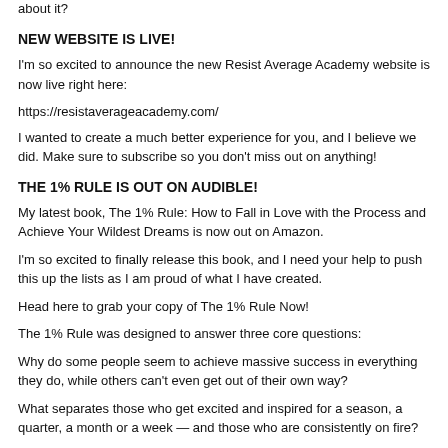about it?
NEW WEBSITE IS LIVE!
I'm so excited to announce the new Resist Average Academy website is now live right here:
https://resistaverageacademy.com/
I wanted to create a much better experience for you, and I believe we did. Make sure to subscribe so you don't miss out on anything!
THE 1% RULE IS OUT ON AUDIBLE!
My latest book, The 1% Rule: How to Fall in Love with the Process and Achieve Your Wildest Dreams is now out on Amazon.
I'm so excited to finally release this book, and I need your help to push this up the lists as I am proud of what I have created.
Head here to grab your copy of The 1% Rule Now!
The 1% Rule was designed to answer three core questions:
Why do some people seem to achieve massive success in everything they do, while others can't even get out of their own way?
What separates those who get excited and inspired for a season, a quarter, a month or a week — and those who are consistently on fire?